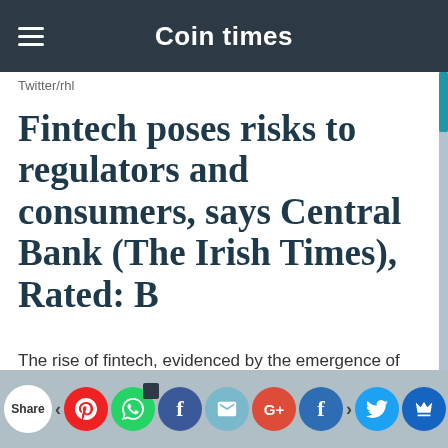Coin times
Twitter/rhl
Fintech poses risks to regulators and consumers, says Central Bank (The Irish Times), Rated: B
The rise of fintech, evidenced by the emergence of crowdfunding and peer-to-